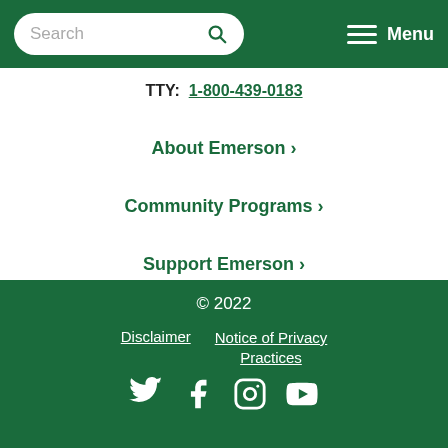Search | Menu
TTY: 1-800-439-0183
About Emerson >
Community Programs >
Support Emerson >
Careers >
For Physicians >
© 2022 | Disclaimer | Notice of Privacy Practices | Social media icons
© 2022
Disclaimer
Notice of Privacy Practices